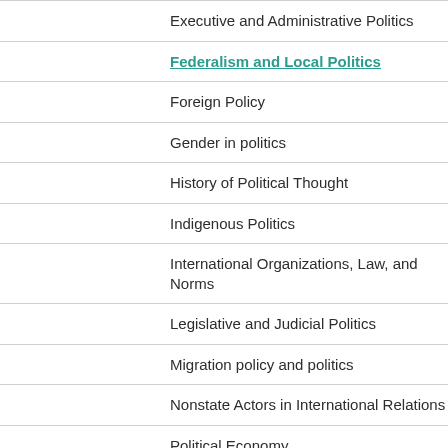Executive and Administrative Politics
Federalism and Local Politics
Foreign Policy
Gender in politics
History of Political Thought
Indigenous Politics
International Organizations, Law, and Norms
Legislative and Judicial Politics
Migration policy and politics
Nonstate Actors in International Relations
Political Economy
Politics of development